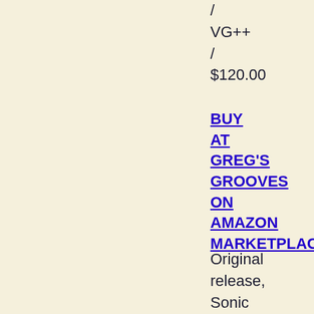/
VG++
/
$120.00
BUY AT GREG'S GROOVES ON AMAZON MARKETPLACE
Original release, Sonic pressing, pink labels. Cover photo credit: From the Archives Of